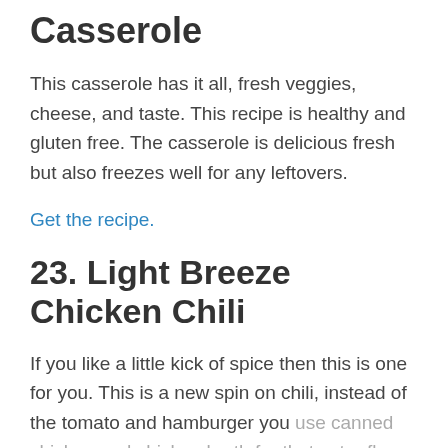Casserole
This casserole has it all, fresh veggies, cheese, and taste. This recipe is healthy and gluten free. The casserole is delicious fresh but also freezes well for any leftovers.
Get the recipe.
23. Light Breeze Chicken Chili
If you like a little kick of spice then this is one for you. This is a new spin on chili, instead of the tomato and hamburger you use canned chicken and chicken broth for that extra flavor. Also, as with any chili,